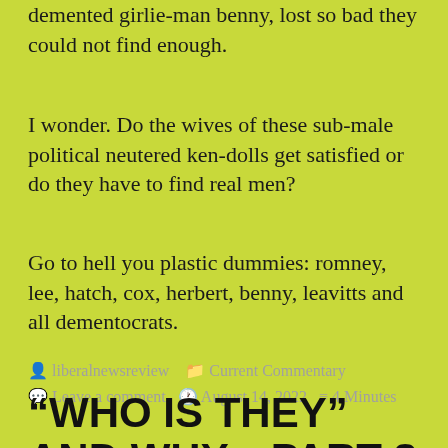demented girlie-man benny, lost so bad they could not find enough.
I wonder. Do the wives of these sub-male political neutered ken-dolls get satisfied or do they have to find real men?
Go to hell you plastic dummies: romney, lee, hatch, cox, herbert, benny, leavitts and all dementocrats.
liberalnewsreview   Current Commentary   Leave a comment   August 14, 2022   4 Minutes
“WHO IS THEY” AND WHY... PART 8